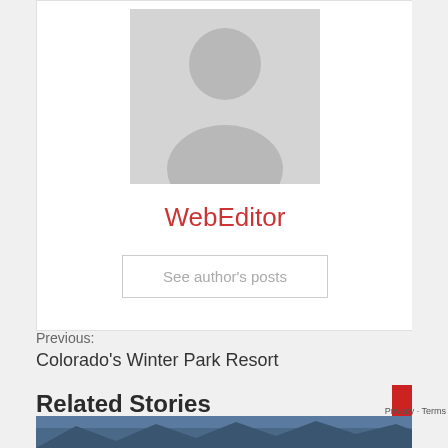[Figure (illustration): Gray default avatar/placeholder silhouette of a person on a light gray square background]
WebEditor
See author's posts
Previous:
Colorado’s Winter Park Resort
Related Stories
[Figure (photo): Partial bottom strip showing a mountain/winter scene photo]